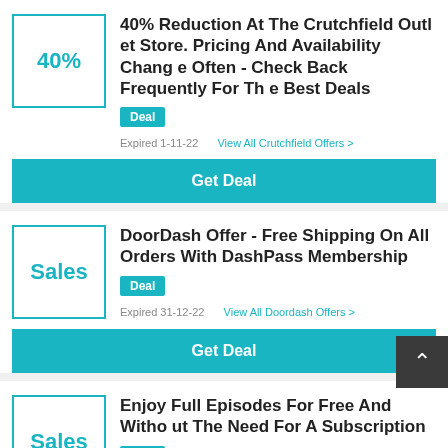[Figure (other): Icon box showing 40%]
40% Reduction At The Crutchfield Outlet Store. Pricing And Availability Change Often - Check Back Frequently For The Best Deals
Deal
Expired 1-11-22   View All Crutchfield Offers >
Get Deal
[Figure (other): Icon box showing Sales]
DoorDash Offer - Free Shipping On All Orders With DashPass Membership
Deal
Expired 31-12-22   View All Doordash Offers >
Get Deal
[Figure (other): Icon box showing Sales]
Enjoy Full Episodes For Free And Without The Need For A Subscription
Deal